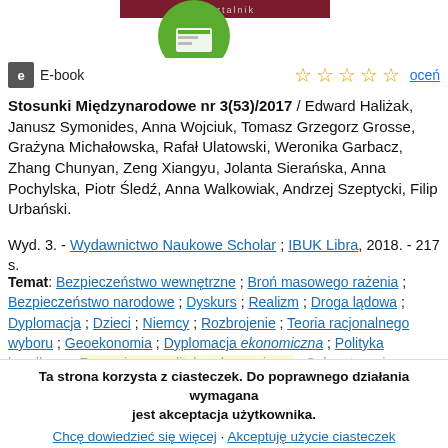[Figure (illustration): Top portion of a book/ebook cover showing a green circle with a white icon and a dark red/maroon rectangular banner with text 'kwartalnik']
E-book
★★★★★ oceń
Stosunki Międzynarodowe nr 3(53)/2017 / Edward Haliżak, Janusz Symonides, Anna Wojciuk, Tomasz Grzegorz Grosse, Grażyna Michałowska, Rafał Ulatowski, Weronika Garbacz, Zhang Chunyan, Zeng Xiangyu, Jolanta Sierańska, Anna Pochylska, Piotr Śledź, Anna Walkowiak, Andrzej Szeptycki, Filip Urbański.
Wyd. 3. - Wydawnictwo Naukowe Scholar ; IBUK Libra, 2018. - 217 s.
Temat: Bezpieczeństwo wewnętrzne ; Broń masowego rażenia ; Bezpieczeństwo narodowe ; Dyskurs ; Realizm ; Droga lądowa ; Dyplomacja ; Dzieci ; Niemcy ; Rozbrojenie ; Teoria racjonalnego wyboru ; Geoekonomia ; Dyplomacja ekonomiczna ; Polityka handlowa ; Zagraniczna polityka ekonomiczna ; Sekurytyzacja ; Migracje ; Broń nuklearna ; Bezpieczeństwo humanitarne ; Nowa Zelandia ; Porozumienie Transpacyficzne ; Międzynarodowe studia bezpieczeństwa ; Konstruktywizm ; Wspólnota
Ta strona korzysta z ciasteczek. Do poprawnego działania wymagana jest akceptacja użytkownika.
Chcę dowiedzieć się więcej · Akceptuję użycie ciasteczek